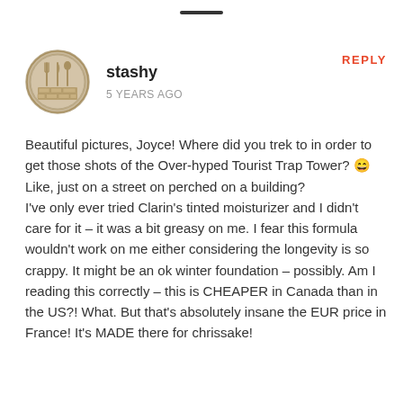[Figure (logo): Circular logo with a food/restaurant theme, beige/tan color, depicting utensils and a brick pattern]
stashy
5 YEARS AGO
REPLY
Beautiful pictures, Joyce! Where did you trek to in order to get those shots of the Over-hyped Tourist Trap Tower? 😄 Like, just on a street on perched on a building?
I've only ever tried Clarin's tinted moisturizer and I didn't care for it – it was a bit greasy on me. I fear this formula wouldn't work on me either considering the longevity is so crappy. It might be an ok winter foundation – possibly. Am I reading this correctly – this is CHEAPER in Canada than in the US?! What. But that's absolutely insane the EUR price in France! It's MADE there for chrissake!